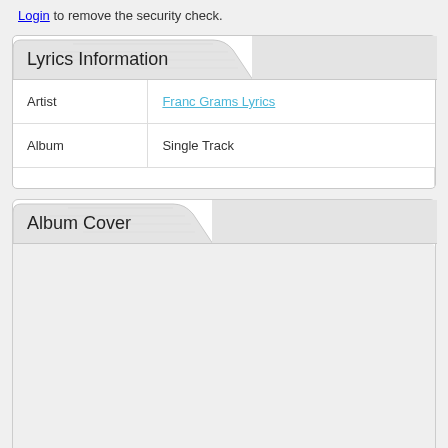Login to remove the security check.
Lyrics Information
| Artist | Franc Grams Lyrics |
| Album | Single Track |
Album Cover
[Figure (other): Empty album cover area with light gray background]